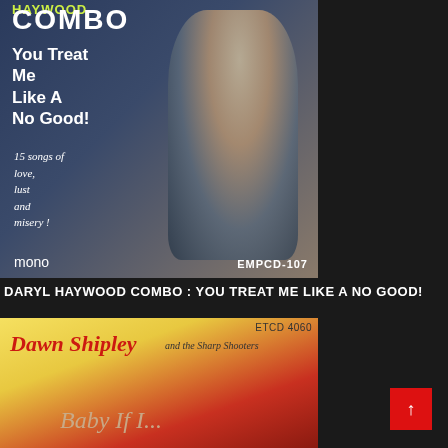[Figure (photo): Album cover for Daryl Haywood Combo 'You Treat Me Like A No Good!' showing a man holding a guitar on a dark blue background. Text reads: COMBO, You Treat Me Like A No Good!, 15 songs of love, lust and misery!, mono, EMPCD-107]
DARYL HAYWOOD COMBO : YOU TREAT ME LIKE A NO GOOD!
[Figure (photo): Album cover for Dawn Shipley and the Sharp Shooters 'Baby If I...' with yellow and red background, catalog number ETCD 4060]